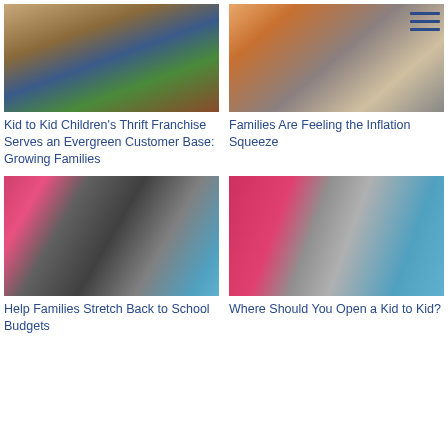[Figure (photo): Family shopping in a store with a child in a cart]
[Figure (photo): Person in orange shirt at a counter handing something to another person]
[Figure (other): Hamburger menu icon with three horizontal lines in navy blue]
Kid to Kid Children's Thrift Franchise Serves an Evergreen Customer Base: Growing Families
Families Are Feeling the Inflation Squeeze
[Figure (photo): Family standing outside Kid to Kid store with pink door holding a teal shopping bag]
[Figure (photo): Pink door of Kid to Kid store with a teal Kid to Kid shopping bag in front]
Help Families Stretch Back to School Budgets
Where Should You Open a Kid to Kid?